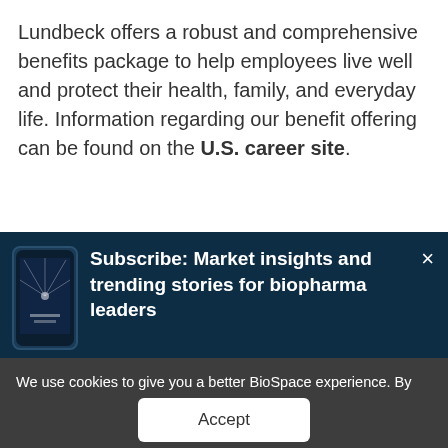Lundbeck offers a robust and comprehensive benefits package to help employees live well and protect their health, family, and everyday life. Information regarding our benefit offering can be found on the U.S. career site.
[Figure (screenshot): Subscribe banner with phone image: 'Subscribe: Market insights and trending stories for biopharma leaders' on dark navy background with close button]
We use cookies to give you a better BioSpace experience. By continuing to use our site, you are agreeing to the use of cookies as set in our Privacy Policy.
Accept